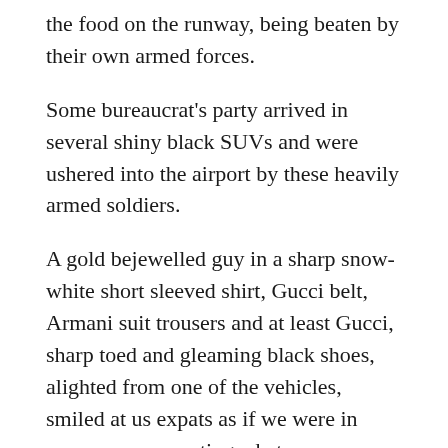the food on the runway, being beaten by their own armed forces.
Some bureaucrat's party arrived in several shiny black SUVs and were ushered into the airport by these heavily armed soldiers.
A gold bejewelled guy in a sharp snow-white short sleeved shirt, Gucci belt, Armani suit trousers and at least Gucci, sharp toed and gleaming black shoes, alighted from one of the vehicles, smiled at us expats as if we were in some way supporting what was happening there, cast a cursory glance over the pallets of aid, remounted his car and disappeared.
Our Fokker fifty arrived shortly thereafter, so we never got to see what happened to the food.